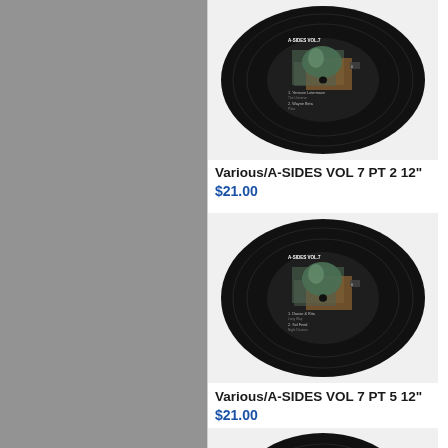[Figure (photo): Vinyl record with A-SIDES VOL 7 PT 2 artwork - black record with abstract cosmic imagery]
Various/A-SIDES VOL 7 PT 2 12"
$21.00
[Figure (photo): Partial vinyl record visible on right edge - black record]
Vario...
$21.0...
[Figure (photo): Vinyl record with A-SIDES VOL 7 PT 5 artwork - black record with abstract cosmic imagery]
Various/A-SIDES VOL 7 PT 5 12"
$21.00
[Figure (photo): Partial vinyl record visible on right edge - black record]
Vario...
$21.0...
[Figure (photo): Vinyl record with A-SIDES VOL 10 artwork - black record with bone/fossil imagery]